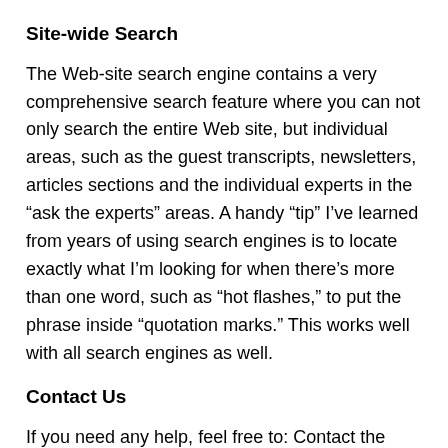Site-wide Search
The Web-site search engine contains a very comprehensive search feature where you can not only search the entire Web site, but individual areas, such as the guest transcripts, newsletters, articles sections and the individual experts in the “ask the experts” areas. A handy “tip” I’ve learned from years of using search engines is to locate exactly what I’m looking for when there’s more than one word, such as “hot flashes,” to put the phrase inside “quotation marks.” This works well with all search engines as well.
Contact Us
If you need any help, feel free to: Contact the Power Surge Team. Please make certain you select the right